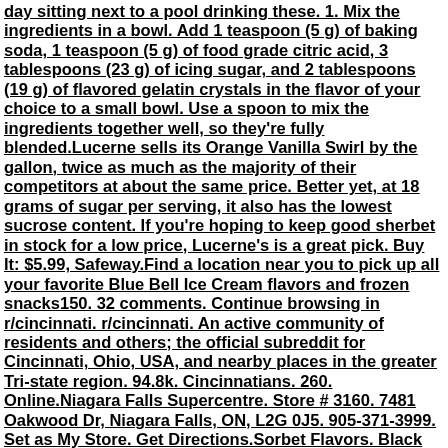day sitting next to a pool drinking these. 1. Mix the ingredients in a bowl. Add 1 teaspoon (5 g) of baking soda, 1 teaspoon (5 g) of food grade citric acid, 3 tablespoons (23 g) of icing sugar, and 2 tablespoons (19 g) of flavored gelatin crystals in the flavor of your choice to a small bowl. Use a spoon to mix the ingredients together well, so they're fully blended.Lucerne sells its Orange Vanilla Swirl by the gallon, twice as much as the majority of their competitors at about the same price. Better yet, at 18 grams of sugar per serving, it also has the lowest sucrose content. If you're hoping to keep good sherbet in stock for a low price, Lucerne's is a great pick. Buy It: $5.99, Safeway.Find a location near you to pick up all your favorite Blue Bell Ice Cream flavors and frozen snacks150. 32 comments. Continue browsing in r/cincinnati. r/cincinnati. An active community of residents and others; the official subreddit for Cincinnati, Ohio, USA, and nearby places in the greater Tri-state region. 94.8k. Cincinnatians. 260. Online.Niagara Falls Supercentre. Store # 3160. 7481 Oakwood Dr, Niagara Falls, ON, L2G 0J5. 905-371-3999. Set as My Store. Get Directions.Sorbet Flavors. Black Raspberry Sorbet Blackberry Sorbet Bumbleberry Sorbet Green Apple Sorbet Lemon Sorbet Lemon-Lime Sorbet Mango Sorbet Mixed Berry Sorbet Pineapple Sorbet Ruby Red Sorbet Raspberry Mango Sorbet Strawberry Mango Sorbet Tamarind Sorbet Watermelon Sorbet.1 tablespoon lime zest 2 cups cold whole milk 2 drops green food coloring, optional Steps to Make It Gather the